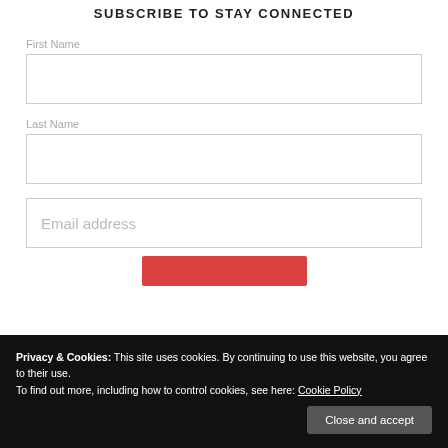SUBSCRIBE TO STAY CONNECTED
First Name
Last Name
Email address
Privacy & Cookies: This site uses cookies. By continuing to use this website, you agree to their use.
To find out more, including how to control cookies, see here: Cookie Policy
Close and accept